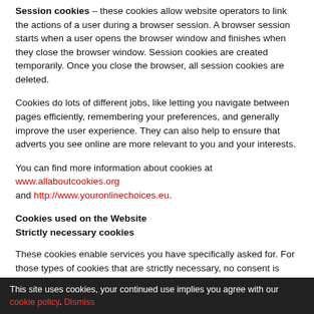Session cookies – these cookies allow website operators to link the actions of a user during a browser session. A browser session starts when a user opens the browser window and finishes when they close the browser window. Session cookies are created temporarily. Once you close the browser, all session cookies are deleted.
Cookies do lots of different jobs, like letting you navigate between pages efficiently, remembering your preferences, and generally improve the user experience. They can also help to ensure that adverts you see online are more relevant to you and your interests.
You can find more information about cookies at www.allaboutcookies.org and http://www.youronlinechoices.eu.
Cookies used on the Website
Strictly necessary cookies
These cookies enable services you have specifically asked for. For those types of cookies that are strictly necessary, no consent is required.
These cookies are essential in order to enable you to move around the Website and use its features, such as accessing secure areas of the Website. Without these cookies, services you have asked for, like shopping baskets or e-billing, cannot be provided.
This site uses cookies, your continued use implies you agree with our cookie policy. Dismiss